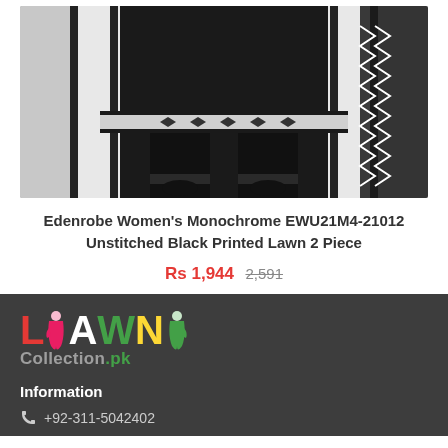[Figure (photo): Product photo of Edenrobe Women's Monochrome black and white printed lawn 2 piece outfit on a model, showing lower half with black pants, black heels, and white/black embroidered dupatta and kameez hem.]
Edenrobe Women's Monochrome EWU21M4-21012 Unstitched Black Printed Lawn 2 Piece
Rs 1,944 2,591
[Figure (logo): LawnCollection.pk logo — colorful LAWN text with Collection.pk below in grey/green]
Information
+92-311-5042402